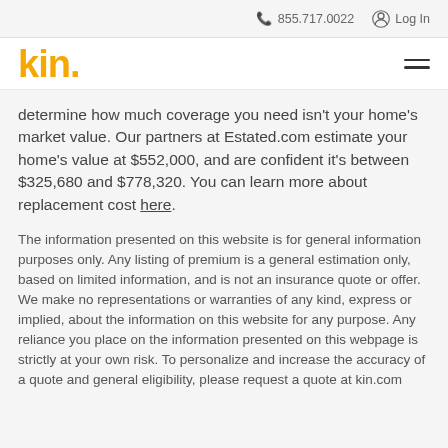855.717.0022  Log In
kin.
determine how much coverage you need isn't your home's market value. Our partners at Estated.com estimate your home's value at $552,000, and are confident it's between $325,680 and $778,320. You can learn more about replacement cost here.
The information presented on this website is for general information purposes only. Any listing of premium is a general estimation only, based on limited information, and is not an insurance quote or offer. We make no representations or warranties of any kind, express or implied, about the information on this website for any purpose. Any reliance you place on the information presented on this webpage is strictly at your own risk. To personalize and increase the accuracy of a quote and general eligibility, please request a quote at kin.com